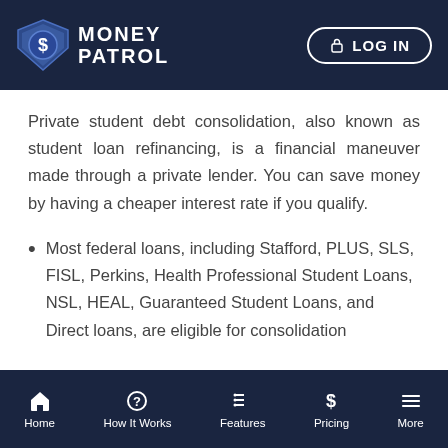MONEY PATROL | LOG IN
Private student debt consolidation, also known as student loan refinancing, is a financial maneuver made through a private lender. You can save money by having a cheaper interest rate if you qualify.
Most federal loans, including Stafford, PLUS, SLS, FISL, Perkins, Health Professional Student Loans, NSL, HEAL, Guaranteed Student Loans, and Direct loans, are eligible for consolidation
Home | How It Works | Features | Pricing | More